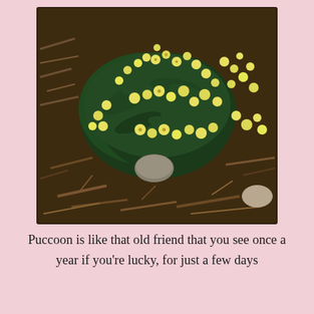[Figure (photo): Close-up photograph of a puccoon plant with clusters of small yellow flowers growing among dark green leaves, surrounded by wood chip mulch and dried plant debris on the ground.]
Puccoon is like that old friend that you see once a year if you're lucky, for just a few days